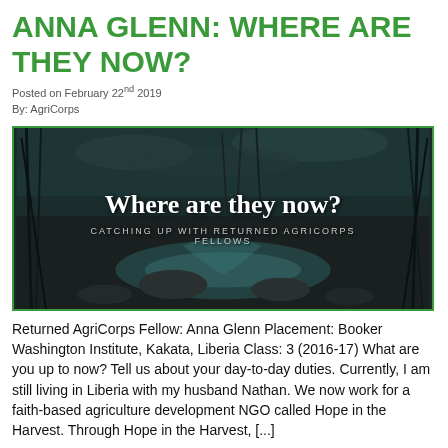ANNA GLENN: WHERE ARE THEY NOW?
Posted on February 22nd 2019
By: AgriCorps
[Figure (photo): Dark nature/waterfall landscape photo with white text overlay: 'Where are they now?' and subtitle 'CATCHING UP WITH RETURNED AGRICORPS FELLOWS']
Returned AgriCorps Fellow: Anna Glenn Placement: Booker Washington Institute, Kakata, Liberia Class: 3 (2016-17) What are you up to now? Tell us about your day-to-day duties. Currently, I am still living in Liberia with my husband Nathan. We now work for a faith-based agriculture development NGO called Hope in the Harvest. Through Hope in the Harvest, [...]